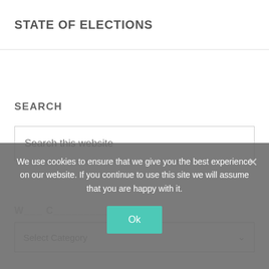STATE OF ELECTIONS
SEARCH
Search this website
We use cookies to ensure that we give you the best experience on our website. If you continue to use this site we will assume that you are happy with it.
Ok
Select Category